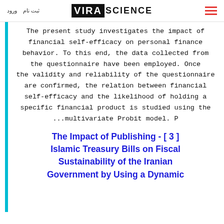ثبت نام  ورود  VIRA SCIENCE  ☰
The present study investigates the impact of financial self-efficacy on personal finance behavior. To this end, the data collected from the questionnaire have been employed. Once the validity and reliability of the questionnaire are confirmed, the relation between financial self-efficacy and the likelihood of holding a specific financial product is studied using the multivariate Probit model. P...
The Impact of Publishing - [ 3 ] Islamic Treasury Bills on Fiscal Sustainability of the Iranian Government by Using a Dynamic